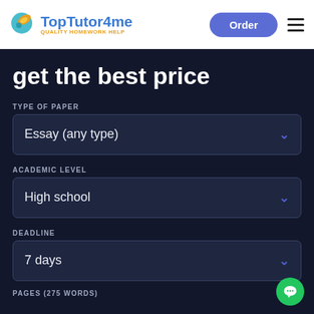[Figure (logo): TopTutor4me logo with stylized globe/feather icon in teal and orange]
TopTutor4me
QUALITY HOMEWORK HELP
Order
get the best price
TYPE OF PAPER
Essay (any type)
ACADEMIC LEVEL
High school
DEADLINE
7 days
PAGES (275 WORDS)